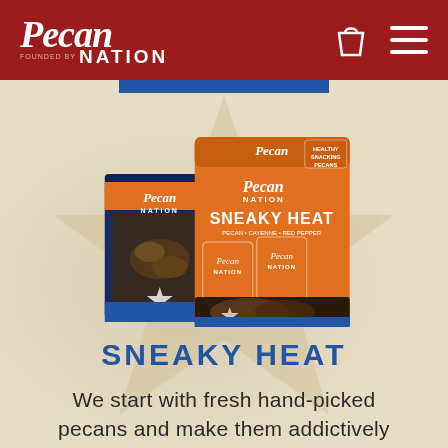[Figure (logo): Pecan Nation logo in white italic script on dark red header background]
[Figure (photo): Pecan Nation Sneaky Heat product packaging — a dark blue small bag and an orange box set with individual orange packets, displayed against a beige textured background with a large faint star watermark]
SNEAKY HEAT
We start with fresh hand-picked pecans and make them addictively